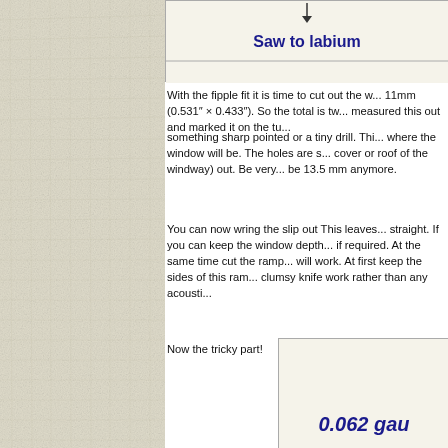[Figure (schematic): Diagram box with 'Saw to labium' label in dark blue, with a small downward arrow indicator at top center. Has a horizontal dividing line with an empty lower section.]
With the fipple fit it is time to cut out the w... 11mm (0.531" × 0.433"). So the total is tw... measured this out and marked it on the tu...
something sharp pointed or a tiny drill. Thi... where the window will be. The holes are s... cover or roof of the windway) out. Be very... be 13.5 mm anymore.
You can now wring the slip out This leaves... straight. If you can keep the window depth... if required. At the same time cut the ramp... will work. At first keep the sides of this ram... clumsy knife work rather than any acousti...
Now the tricky part!
[Figure (schematic): Partial diagram in bottom-right area showing '0.062 gau...' text in dark blue italic, inside a bordered box with light background.]